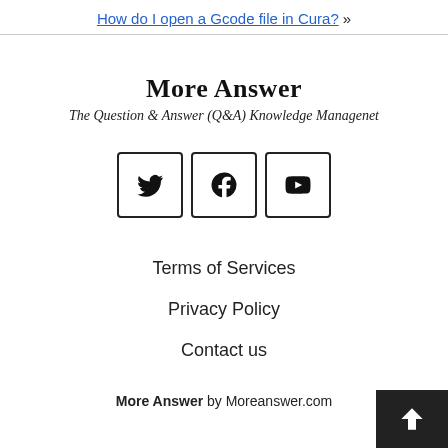How do I open a Gcode file in Cura? »
More Answer
The Question & Answer (Q&A) Knowledge Managenet
[Figure (other): Social media icon buttons: Twitter, Facebook, YouTube]
Terms of Services
Privacy Policy
Contact us
More Answer by Moreanswer.com
[Figure (other): Back to top arrow button (dark background)]